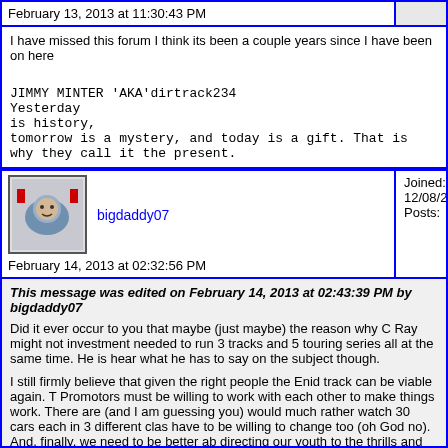February 13, 2013 at 11:30:43 PM
I have missed this forum I think its been a couple years since I have been on here

JIMMY MINTER 'AKA'dirtrack234
Yesterday
is history,
tomorrow is a mystery, and today is a gift. That is
why they call it the present.
bigdaddy07
Joined: 12/08/2005
Posts: 79
February 14, 2013 at 02:32:56 PM
This message was edited on February 14, 2013 at 02:43:39 PM by bigdaddy07
Did it ever occur to you that maybe (just maybe) the reason why C Ray might not investment needed to run 3 tracks and 5 touring series all at the same time. He is hear what he has to say on the subject though.
I still firmly believe that given the right people the Enid track can be viable again. Promotors must be willing to work with each other to make things work. There are (and I am guessing you) would much rather watch 30 cars each in 3 different clas have to be willing to change too (oh God no). And, finally, we need to be better ab directing our youth to the thrills and excitement associated with racing.